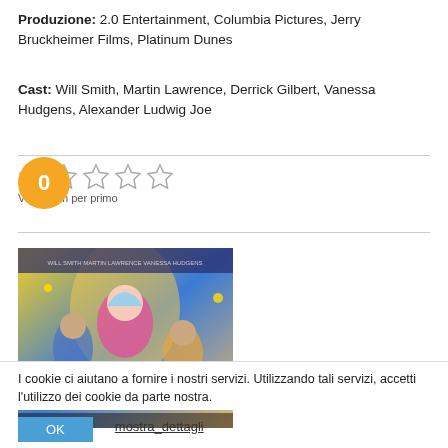Produzione: 2.0 Entertainment, Columbia Pictures, Jerry Bruckheimer Films, Platinum Dunes
Cast: Will Smith, Martin Lawrence, Derrick Gilbert, Vanessa Hudgens, Alexander Ludwig Joe
[Figure (other): Five empty star rating icons with label 'Vota il film per primo' and an orange circle showing score 0]
[Figure (photo): Movie poster showing female superhero characters in colorful costumes against a bright background]
I cookie ci aiutano a fornire i nostri servizi. Utilizzando tali servizi, accetti l'utilizzo dei cookie da parte nostra.
OK    mostra_dettagli